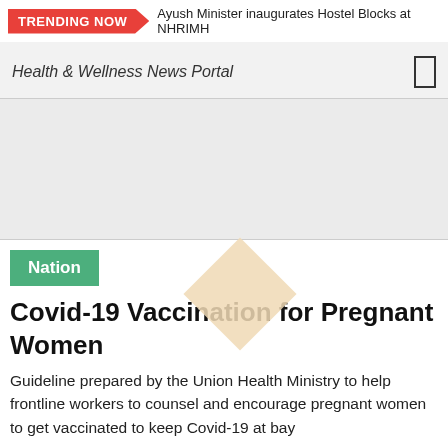TRENDING NOW  Ayush Minister inaugurates Hostel Blocks at NHRIMH
Health & Wellness News Portal
[Figure (other): Gray advertisement/placeholder area]
Nation
Covid-19 Vaccination for Pregnant Women
Guideline prepared by the Union Health Ministry to help frontline workers to counsel and encourage pregnant women to get vaccinated to keep Covid-19 at bay
PUBLISHED:
BY: FIT-NE STAFF BUREAU